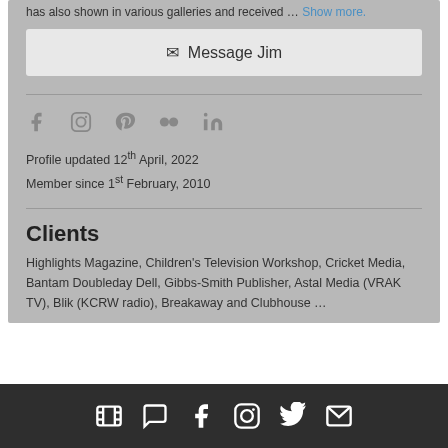has also shown in various galleries and received … Show more.
✉ Message Jim
[Figure (infographic): Social media icons: Facebook, Instagram, Pinterest, Flickr, LinkedIn]
Profile updated 12th April, 2022
Member since 1st February, 2010
Clients
Highlights Magazine, Children's Television Workshop, Cricket Media, Bantam Doubleday Dell, Gibbs-Smith Publisher, Astal Media (VRAK TV), Blik (KCRW radio), Breakaway and Clubhouse …
[Figure (infographic): Footer dark bar with white icons: film/video, chat, Facebook, Instagram, Twitter, email]